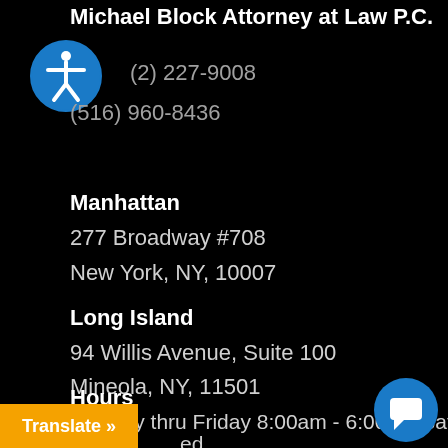Michael Block Attorney at Law P.C.
(2) 227-9008
(516) 960-8436
Manhattan
277 Broadway #708
New York, NY, 10007
Long Island
94 Willis Avenue, Suite 100
Mineola, NY, 11501
Hours
Monday thru Friday 8:00am - 6:00pm Satu
ed
Translate »